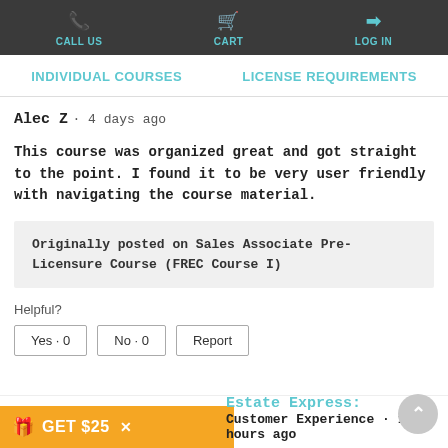CALL US | CART | LOG IN
INDIVIDUAL COURSES | LICENSE REQUIREMENTS
Alec Z · 4 days ago
This course was organized great and got straight to the point. I found it to be very user friendly with navigating the course material.
Originally posted on Sales Associate Pre-Licensure Course (FREC Course I)
Helpful?
Yes · 0   No · 0   Report
GET $25   ×   Estate Express:
Customer Experience · 12 hours ago